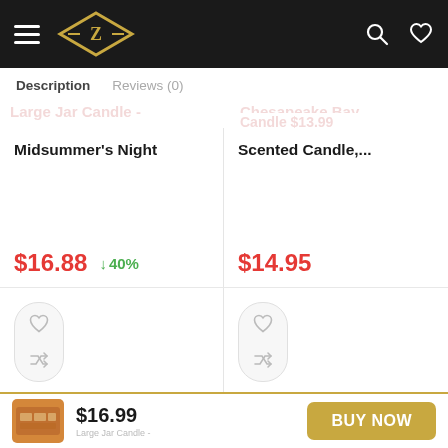Z (logo) | hamburger menu | search | wishlist
Description   Reviews (0)
Midsummer's Night
$16.88  ↓40%
Scented Candle,...
$14.95
[Figure (screenshot): Product action icons: heart (wishlist) and shuffle/compare arrows in a pill-shaped container]
[Figure (screenshot): Product action icons: heart (wishlist) and shuffle/compare arrows in a pill-shaped container]
$16.99   BUY NOW